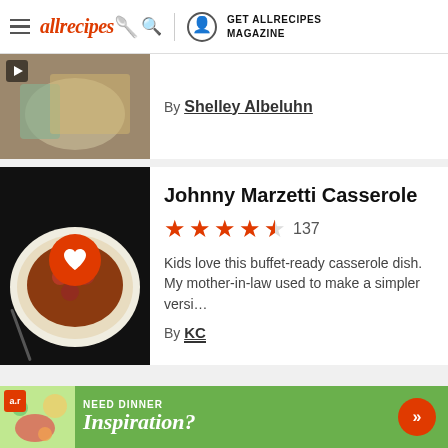allrecipes | GET ALLRECIPES MAGAZINE
By Shelley Albeluhn
Johnny Marzetti Casserole
★★★★½ 137
Kids love this buffet-ready casserole dish. My mother-in-law used to make a simpler versi…
By KC
French Toast
[Figure (advertisement): Green ad banner: NEED DINNER Inspiration? with arrow button]